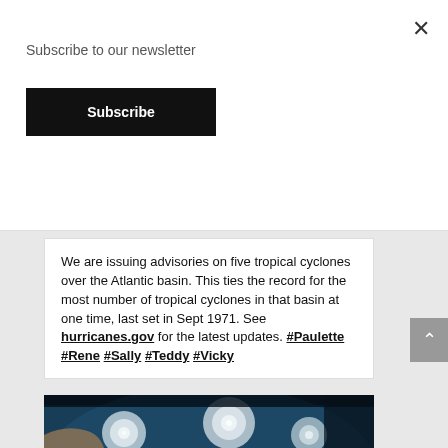Subscribe to our newsletter
Subscribe
We are issuing advisories on five tropical cyclones over the Atlantic basin. This ties the record for the most number of tropical cyclones in that basin at one time, last set in Sept 1971. See hurricanes.gov for the latest updates. #Paulette #Rene #Sally #Teddy #Vicky
[Figure (photo): Satellite image showing multiple tropical cyclones over the Atlantic Ocean, viewed from space against a black background]